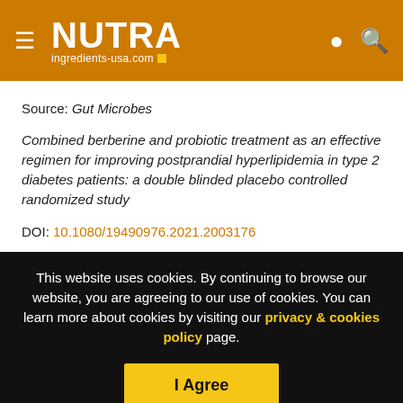NUTRA ingredients-usa.com
Source: Gut Microbes
Combined berberine and probiotic treatment as an effective regimen for improving postprandial hyperlipidemia in type 2 diabetes patients: a double blinded placebo controlled randomized study
DOI: 10.1080/19490976.2021.2003176
This website uses cookies. By continuing to browse our website, you are agreeing to our use of cookies. You can learn more about cookies by visiting our privacy & cookies policy page.
I Agree